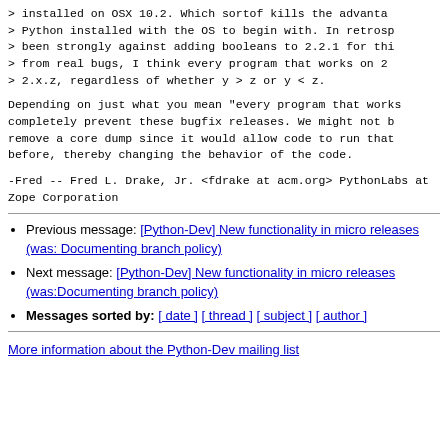> installed on OSX 10.2. Which sortof kills the advanta
> Python installed with the OS to begin with. In retrosp
> been strongly against adding booleans to 2.2.1 for thi
> from real bugs, I think every program that works on 2
> 2.x.z, regardless of whether y > z or y < z.
Depending on just what you mean "every program that works
completely prevent these bugfix releases.  We might not b
remove a core dump since it would allow code to run that
before, thereby changing the behavior of the code.
-Fred

--
Fred L. Drake, Jr.  <fdrake at acm.org>
PythonLabs at Zope Corporation
Previous message: [Python-Dev] New functionality in micro releases (was: Documenting branch policy)
Next message: [Python-Dev] New functionality in micro releases (was:Documenting branch policy)
Messages sorted by: [ date ] [ thread ] [ subject ] [ author ]
More information about the Python-Dev mailing list